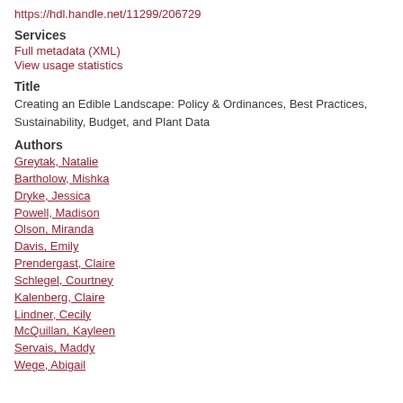https://hdl.handle.net/11299/206729
Services
Full metadata (XML)
View usage statistics
Title
Creating an Edible Landscape: Policy & Ordinances, Best Practices, Sustainability, Budget, and Plant Data
Authors
Greytak, Natalie
Bartholow, Mishka
Dryke, Jessica
Powell, Madison
Olson, Miranda
Davis, Emily
Prendergast, Claire
Schlegel, Courtney
Kalenberg, Claire
Lindner, Cecily
McQuillan, Kayleen
Servais, Maddy
Wege, Abigail